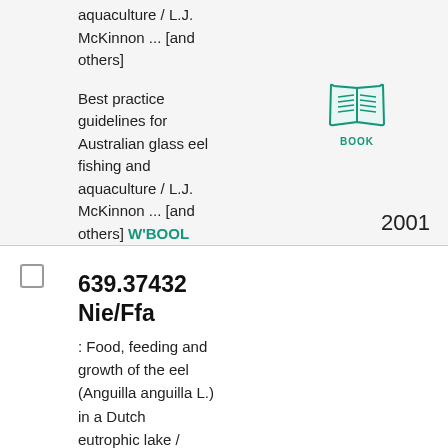aquaculture / L.J. McKinnon ... [and others]
Best practice guidelines for Australian glass eel fishing and aquaculture / L.J. McKinnon ... [and others] W'BOOL
[Figure (illustration): Book icon in teal color with BOOK label underneath]
2001
639.37432 Nie/Ffa
: Food, feeding and growth of the eel (Anguilla anguilla L.) in a Dutch eutrophic lake /